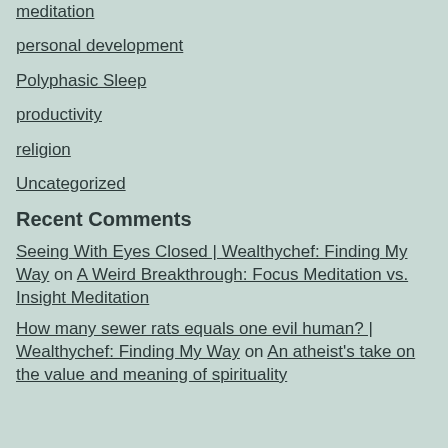meditation
personal development
Polyphasic Sleep
productivity
religion
Uncategorized
Recent Comments
Seeing With Eyes Closed | Wealthychef: Finding My Way on A Weird Breakthrough: Focus Meditation vs. Insight Meditation
How many sewer rats equals one evil human? | Wealthychef: Finding My Way on An atheist's take on the value and meaning of spirituality